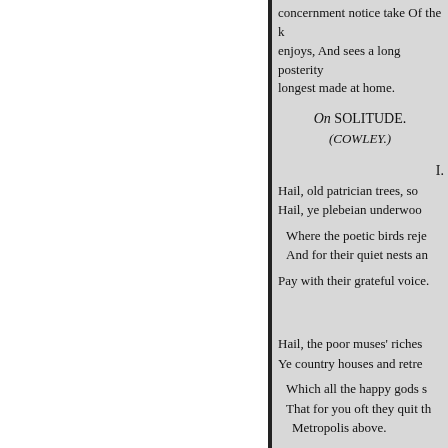concernment notice take Of the k[…] enjoys, And sees a long posterity[…] longest made at home.
On SOLITUDE. (COWLEY.)
I.
Hail, old patrician trees, so… Hail, ye plebeian underwo[od]…
Where the poetic birds reje[ct]… And for their quiet nests an[d]…
Pay with their grateful voice.
Hail, the poor muses' riches[…] Ye country houses and retre[at]…
Which all the happy gods s[…] That for you oft they quit th[e]… Metropolis above.